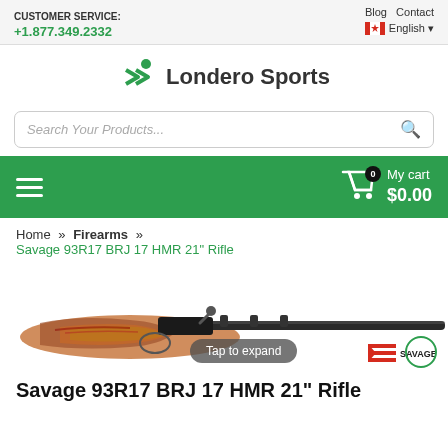CUSTOMER SERVICE: +1.877.349.2332 | Blog  Contact  English
[Figure (logo): Londero Sports logo — green chevron/person icon with text 'Londero Sports']
Search Your Products...
My cart $0.00
Home » Firearms » Savage 93R17 BRJ 17 HMR 21" Rifle
[Figure (photo): Savage 93R17 BRJ rifle with laminate wood stock in brown/red/tan pattern on white background. Overlay shows 'Tap to expand' button and Savage Arms logo bottom right.]
Savage 93R17 BRJ 17 HMR 21" Rifle